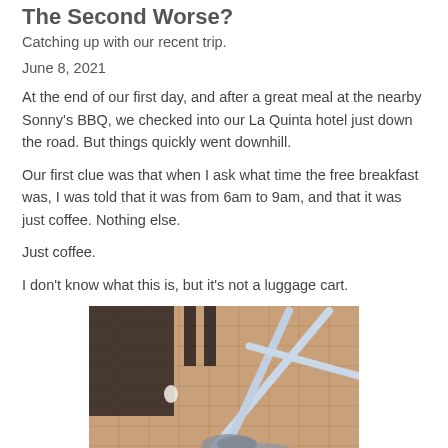The Second Worse?
Catching up with our recent trip.
June 8, 2021
At the end of our first day, and after a great meal at the nearby Sonny's BBQ, we checked into our La Quinta hotel just down the road. But things quickly went downhill.
Our first clue was that when I ask what time the free breakfast was, I was told that it was from 6am to 9am, and that it was just coffee. Nothing else.
Just coffee.
I don't know what this is, but it's not a luggage cart.
[Figure (photo): Photo of a broken or unusual luggage rack/cart on a woven carpet floor in a hotel room, with dark furniture visible in the background.]